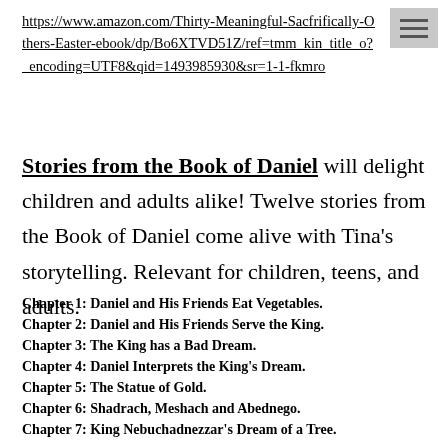https://www.amazon.com/Thirty-Meaningful-Sacfrifically-Others-Easter-ebook/dp/Bo6XTVD51Z/ref=tmm_kin_title_o?_encoding=UTF8&qid=1493985930&sr=1-1-fkmro
Stories from the Book of Daniel will delight children and adults alike! Twelve stories from the Book of Daniel come alive with Tina's storytelling. Relevant for children, teens, and adults.
Chapter 1: Daniel and His Friends Eat Vegetables.
Chapter 2: Daniel and His Friends Serve the King.
Chapter 3: The King has a Bad Dream.
Chapter 4: Daniel Interprets the King's Dream.
Chapter 5: The Statue of Gold.
Chapter 6: Shadrach, Meshach and Abednego.
Chapter 7: King Nebuchadnezzar's Dream of a Tree.